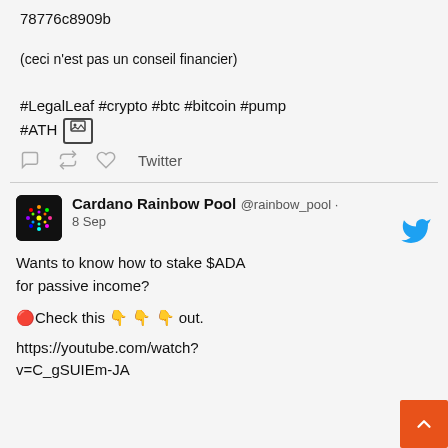78776c8909b
(ceci n'est pas un conseil financier)
#LegalLeaf #crypto #btc #bitcoin #pump #ATH [image icon]
[comment icon] [retweet icon] [like icon] Twitter
Cardano Rainbow Pool @rainbow_pool · 8 Sep
Wants to know how to stake $ADA for passive income?

🔴Check this 👇👇👇 out.

https://youtube.com/watch?v=C_gSUIEm-JA